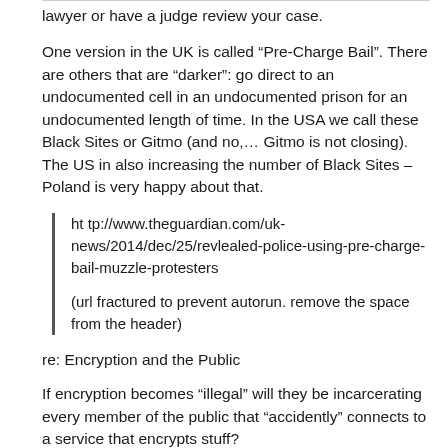lawyer or have a judge review your case.
One version in the UK is called “Pre-Charge Bail”. There are others that are “darker”: go direct to an undocumented cell in an undocumented prison for an undocumented length of time. In the USA we call these Black Sites or Gitmo (and no,… Gitmo is not closing). The US in also increasing the number of Black Sites – Poland is very happy about that.
ht tp://www.theguardian.com/uk-news/2014/dec/25/revlealed-police-using-pre-charge-bail-muzzle-protesters

(url fractured to prevent autorun. remove the space from the header)
re: Encryption and the Public
If encryption becomes “illegal” will they be incarcerating every member of the public that “accidently” connects to a service that encrypts stuff?
Will people go to jail because they logged in to their SWTOR accounts? EA encrypts passwords and recommends their